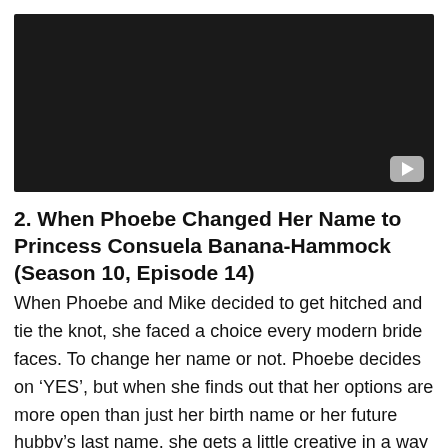[Figure (screenshot): Dark/black video player with a grey YouTube-style play button in the bottom-right corner]
2. When Phoebe Changed Her Name to Princess Consuela Banana-Hammock (Season 10, Episode 14)
When Phoebe and Mike decided to get hitched and tie the knot, she faced a choice every modern bride faces. To change her name or not. Phoebe decides on ‘YES’, but when she finds out that her options are more open than just her birth name or her future hubby’s last name, she gets a little creative in a way that perfectly suit the quirky friend. Phoebe doesn’t want to be a Sarah or Jennifer or even a Phoebe when she can choose to